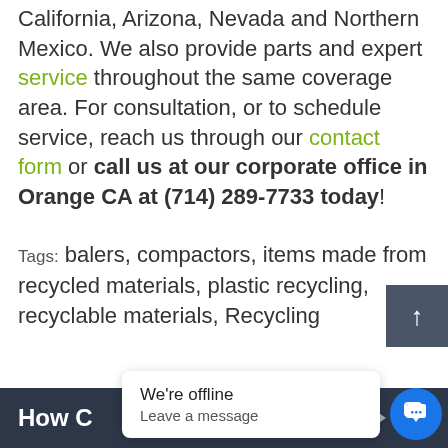California, Arizona, Nevada and Northern Mexico. We also provide parts and expert service throughout the same coverage area. For consultation, or to schedule service, reach us through our contact form or call us at our corporate office in Orange CA at (714) 289-7733 today!
Tags: balers, compactors, items made from recycled materials, plastic recycling, recyclable materials, Recycling
How C...